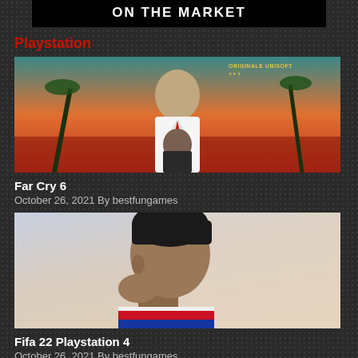ON THE MARKET
Playstation
[Figure (photo): Far Cry 6 game cover art showing a man in a white suit with tropical background and ORIGINALE UBISOFT text]
Far Cry 6
October 26, 2021 By bestfungames
[Figure (photo): FIFA 22 Playstation 4 game cover art showing a player in a blue and red jersey from a side profile angle]
Fifa 22 Playstation 4
October 26, 2021 By bestfungames